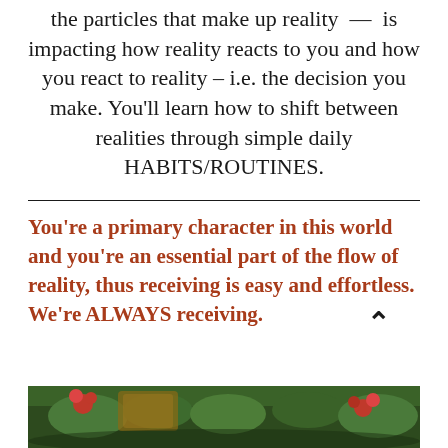the particles that make up reality — is impacting how reality reacts to you and how you react to reality – i.e. the decision you make. You'll learn how to shift between realities through simple daily HABITS/ROUTINES.
You're a primary character in this world and you're an essential part of the flow of reality, thus receiving is easy and effortless. We're ALWAYS receiving.
[Figure (photo): Partial photo strip at bottom showing plants/flowers with red flowers and green foliage]